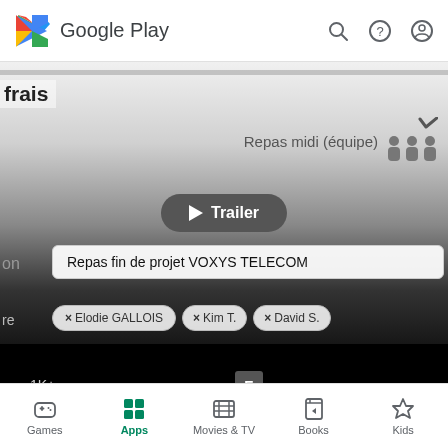[Figure (screenshot): Google Play Store screenshot showing XpanS app listing by XpanS SAS, with a background showing an expense report app with text 'Repas midi (équipe)', 'Trailer' button, 'Repas fin de projet VOXYS TELECOM' field, and tags for Elodie GALLOIS, Kim T., David S.]
Google Play
frais
Repas midi (équipe)
Trailer
on
Repas fin de projet VOXYS TELECOM
re
× Elodie GALLOIS
× Kim T.
× David S.
XpanS
XpanS SAS
1K+
Games  Apps  Movies & TV  Books  Kids